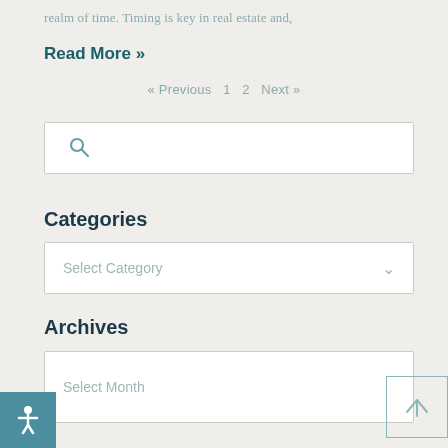realm of time. Timing is key in real estate and,
Read More »
« Previous  1  2  Next »
[Figure (other): Search input box with magnifying glass icon]
Categories
[Figure (other): Select Category dropdown]
Archives
[Figure (other): Select Month dropdown with up-arrow button and accessibility icon]